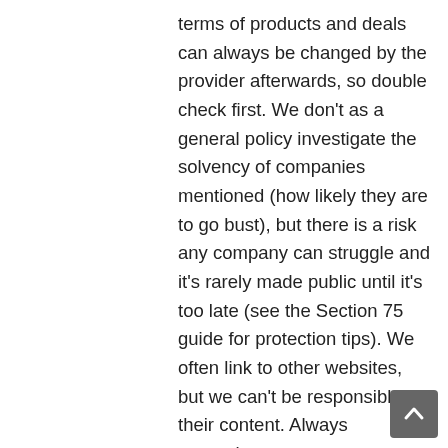terms of products and deals can always be changed by the provider afterwards, so double check first. We don't as a general policy investigate the solvency of companies mentioned (how likely they are to go bust), but there is a risk any company can struggle and it's rarely made public until it's too late (see the Section 75 guide for protection tips). We often link to other websites, but we can't be responsible for their content. Always remember anyone can post on the MSE forums, so it can be very different from our opinion. A vertical stack of three evenly spaced horizontal lines. Registration on or use of this site constitutes acceptance of our After email marketing company Epsilon let millions of email addresses slip this weekend, you should prepare yourself for an onslaught of spam, eos trading binance